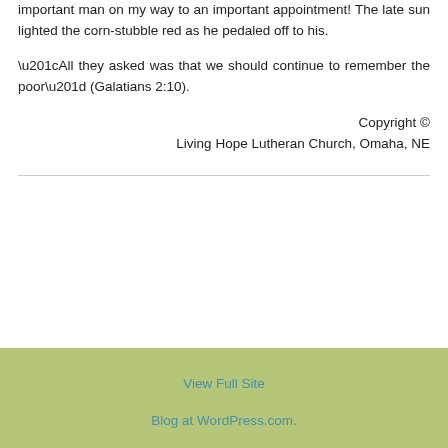important man on my way to an important appointment! The late sun lighted the corn-stubble red as he pedaled off to his.
“All they asked was that we should continue to remember the poor” (Galatians 2:10).
Copyright © Living Hope Lutheran Church, Omaha, NE
View Full Site
Blog at WordPress.com.